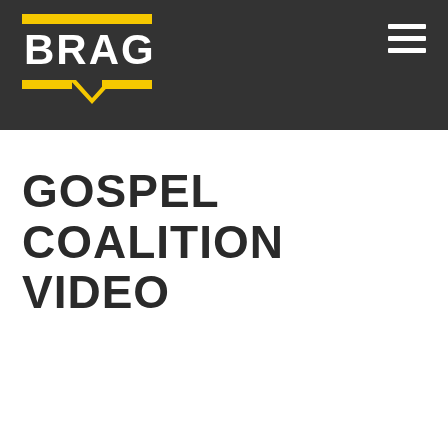[Figure (logo): BRAG logo with yellow horizontal bars on top and bottom and a chevron/arrow pointing down, white text BRAG on dark background]
GOSPEL COALITION VIDEO